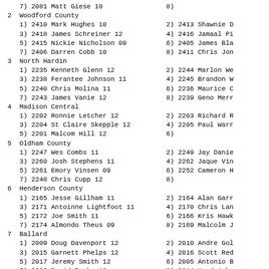7) 2081 Matt Giese 10                8)
2  Woodford County
1) 2410 Mark Hughes 10               2) 2413 Shawnie D
3) 2418 James Schreiner 12           4) 2416 Jamaal Pi
5) 2415 Nickie Nicholson 09          6) 2405 James Bla
7) 2406 Darren Cobb 10               8) 2411 Chris Jon
3  North Hardin
1) 2235 Kenneth Glenn 12             2) 2244 Marlon We
3) 2238 Ferantee Johnson 11          4) 2245 Brandon W
5) 2240 Chris Molina 11              6) 2236 Maurice C
7) 2243 James Vanie 12               8) 2239 Geno Merr
4  Madison Central
1) 2202 Ronnie Letcher 12            2) 2203 Richard R
3) 2204 St Claire Skepple 12         4) 2205 Paul Warr
5) 2201 Malcom Hill 12               6)
5  Oldham County
1) 2247 Wes Combs 11                 2) 2249 Jay Danie
3) 2260 Josh Stephens 11             4) 2262 Jaque Vin
5) 2261 Emory Vinsen 09              6) 2252 Cameron H
7) 2248 Chris Cupp 12                8)
6  Henderson County
1) 2165 Jesse Gillham 11             2) 2164 Alan Garr
3) 2171 Antoinne Lightfoot 11        4) 2170 Chris Lan
5) 2172 Joe Smith 11                 6) 2166 Kris Hawk
7) 2174 Almondo Theus 09             8) 2169 Malcolm J
7  Ballard
1) 2009 Doug Davenport 12            2) 2010 Andre Gol
3) 2015 Garnett Phelps 12            4) 2016 Scott Red
5) 2017 Jeremy Smith 12              6) 2005 Antonio B
7) 2006 David Burks 12               8) 2014 Kendrick